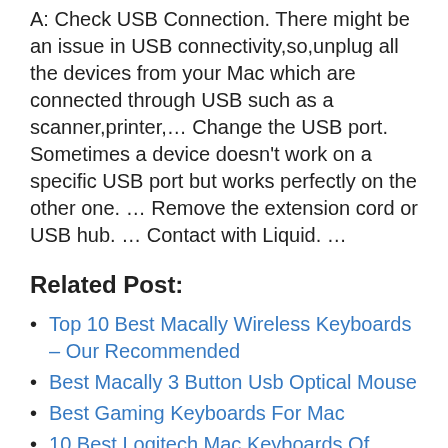A: Check USB Connection. There might be an issue in USB connectivity,so,unplug all the devices from your Mac which are connected through USB such as a scanner,printer,… Change the USB port. Sometimes a device doesn't work on a specific USB port but works perfectly on the other one. … Remove the extension cord or USB hub. … Contact with Liquid. …
Related Post:
Top 10 Best Macally Wireless Keyboards – Our Recommended
Best Macally 3 Button Usb Optical Mouse
Best Gaming Keyboards For Mac
10 Best Logitech Mac Keyboards Of